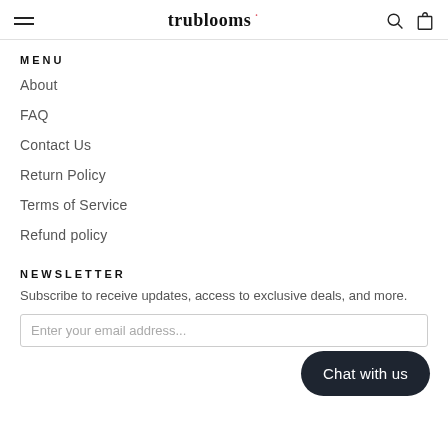trublooms
MENU
About
FAQ
Contact Us
Return Policy
Terms of Service
Refund policy
NEWSLETTER
Subscribe to receive updates, access to exclusive deals, and more.
Chat with us